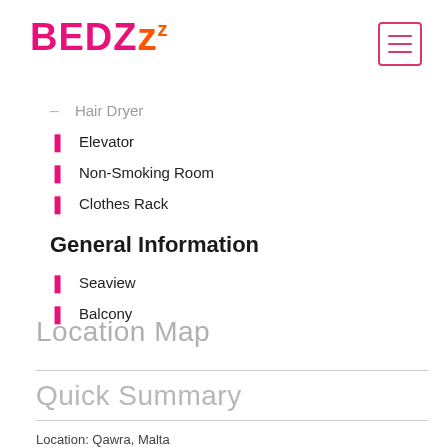[Figure (logo): BEDZzz logo in pink/orange handwritten style]
Hair Dryer
Elevator
Non-Smoking Room
Clothes Rack
General Information
Seaview
Balcony
Location Map
Quick Summary
Location: Qawra, Malta